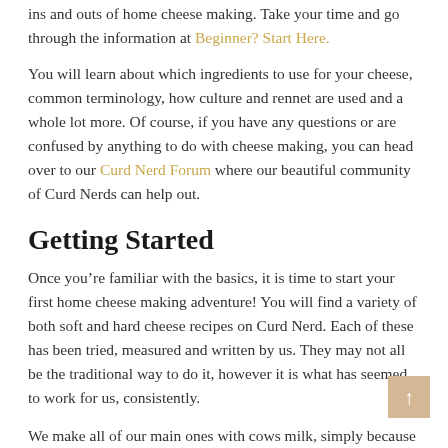ins and outs of home cheese making. Take your time and go through the information at Beginner? Start Here.
You will learn about which ingredients to use for your cheese, common terminology, how culture and rennet are used and a whole lot more. Of course, if you have any questions or are confused by anything to do with cheese making, you can head over to our Curd Nerd Forum where our beautiful community of Curd Nerds can help out.
Getting Started
Once you're familiar with the basics, it is time to start your first home cheese making adventure! You will find a variety of both soft and hard cheese recipes on Curd Nerd. Each of these has been tried, measured and written by us. They may not all be the traditional way to do it, however it is what has seemed to work for us, consistently.
We make all of our main ones with cows milk, simply because...